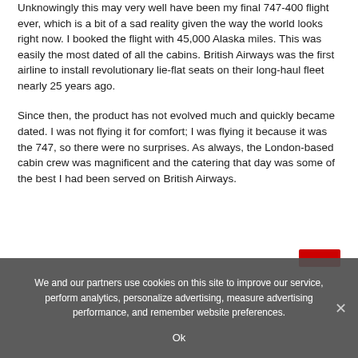Unknowingly this may very well have been my final 747-400 flight ever, which is a bit of a sad reality given the way the world looks right now. I booked the flight with 45,000 Alaska miles. This was easily the most dated of all the cabins. British Airways was the first airline to install revolutionary lie-flat seats on their long-haul fleet nearly 25 years ago.
Since then, the product has not evolved much and quickly became dated. I was not flying it for comfort; I was flying it because it was the 747, so there were no surprises. As always, the London-based cabin crew was magnificent and the catering that day was some of the best I had been served on British Airways.
We and our partners use cookies on this site to improve our service, perform analytics, personalize advertising, measure advertising performance, and remember website preferences.
Ok